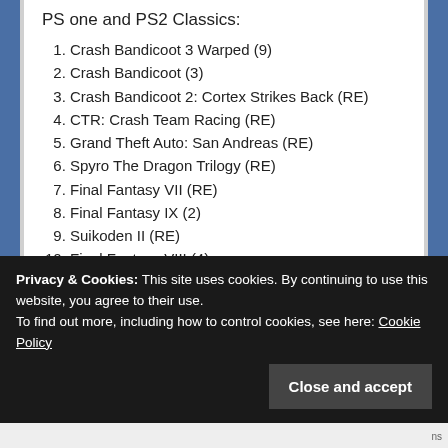PS one and PS2 Classics:
1. Crash Bandicoot 3 Warped (9)
2. Crash Bandicoot (3)
3. Crash Bandicoot 2: Cortex Strikes Back (RE)
4. CTR: Crash Team Racing (RE)
5. Grand Theft Auto: San Andreas (RE)
6. Spyro The Dragon Trilogy (RE)
7. Final Fantasy VII (RE)
8. Final Fantasy IX (2)
9. Suikoden II (RE)
10. Final Fantasy VIII (4)
Charts, Europe, PAL, PlayStation Store, PS3, PS4, PSN
Privacy & Cookies: This site uses cookies. By continuing to use this website, you agree to their use. To find out more, including how to control cookies, see here: Cookie Policy
Close and accept